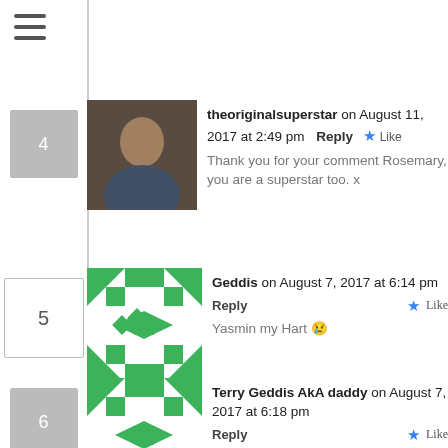[Figure (screenshot): Hamburger menu icon (three horizontal lines)]
theoriginalsuperstar on August 11, 2017 at 2:49 pm Reply Like
Thank you for your comment Rosemary, you are a superstar too. x
Geddis on August 7, 2017 at 6:14 pm Reply Like
Yasmin my Hart 😢
Terry Geddis AkA daddy on August 7, 2017 at 6:18 pm Reply Like
Yasmin my Hart 😢